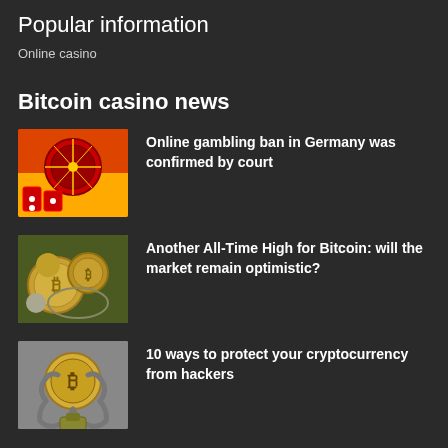Popular information
Online casino
Bitcoin casino news
[Figure (photo): Roulette table with playing cards and red dice on orange and yellow background]
Online gambling ban in Germany was confirmed by court
[Figure (photo): Bitcoin gold coins with magnifying glass on dark background]
Another All-Time High for Bitcoin: will the market remain optimistic?
[Figure (photo): Bitcoin coin wrapped in metal chain with padlock on grey background]
10 ways to protect your cryptocurrency from hackers